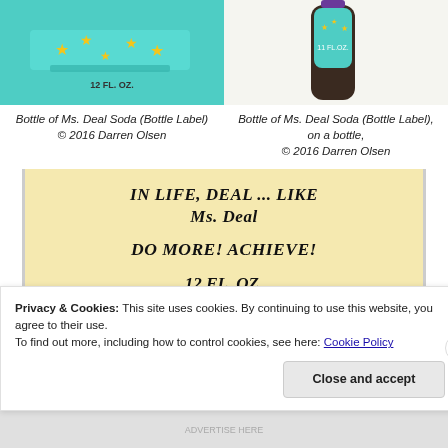[Figure (photo): Left: Bottle label of Ms. Deal Soda on flat surface showing teal label with '12 FL. OZ.' text]
[Figure (photo): Right: Bottle of Ms. Deal Soda showing teal label on an actual dark glass bottle]
Bottle of Ms. Deal Soda (Bottle Label)
© 2016 Darren Olsen
Bottle of Ms. Deal Soda (Bottle Label), on a bottle,
© 2016 Darren Olsen
IN LIFE, DEAL ... LIKE
Ms. Deal

DO MORE! ACHIEVE!

12 FL. OZ.
Privacy & Cookies: This site uses cookies. By continuing to use this website, you agree to their use.
To find out more, including how to control cookies, see here: Cookie Policy
Close and accept